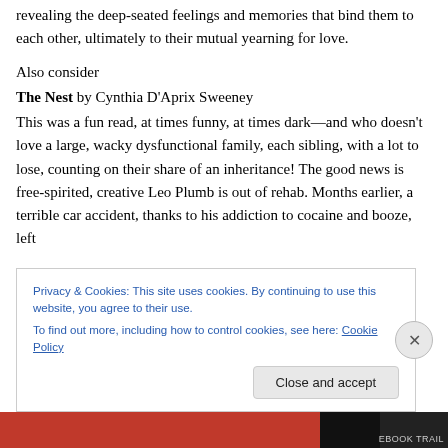revealing the deep-seated feelings and memories that bind them to each other, ultimately to their mutual yearning for love.
Also consider
The Nest by Cynthia D'Aprix Sweeney
This was a fun read, at times funny, at times dark—and who doesn't love a large, wacky dysfunctional family, each sibling, with a lot to lose, counting on their share of an inheritance! The good news is free-spirited, creative Leo Plumb is out of rehab. Months earlier, a terrible car accident, thanks to his addiction to cocaine and booze, left
Privacy & Cookies: This site uses cookies. By continuing to use this website, you agree to their use.
To find out more, including how to control cookies, see here: Cookie Policy
Close and accept